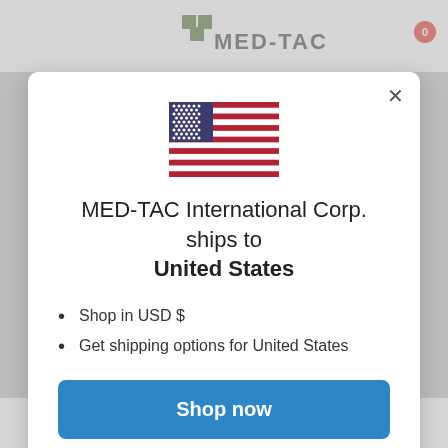[Figure (screenshot): MED-TAC International Corp. website header with logo]
[Figure (illustration): United States flag emoji/icon]
MED-TAC International Corp. ships to United States
Shop in USD $
Get shipping options for United States
Shop now
Change shipping country
on prophylactic anticoagulation at a minimum